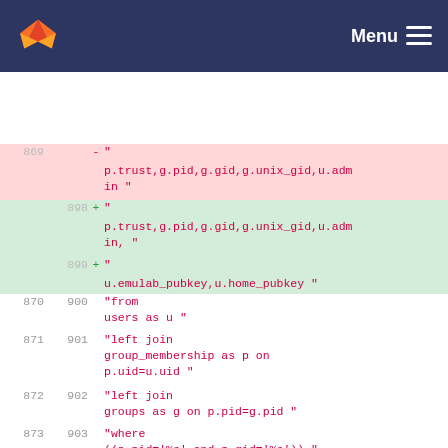GitLab Menu
| old_line | new_line | op | code |
| --- | --- | --- | --- |
| 869 |  | - | " |
| 869 |  | - | p.trust,g.pid,g.gid,g.unix_gid,u.admin in " |
|  | 898 | + | " |
|  | 898 | + | p.trust,g.pid,g.gid,g.unix_gid,u.admin, " |
|  | 899 | + | " |
|  | 899 | + | u.emulab_pubkey,u.home_pubkey " |
| 870 | 900 |  | "from users as u " |
| 871 | 901 |  | "left join group_membership as p on p.uid=u.uid " |
| 872 | 902 |  | "left join groups as g on p.pid=g.pid " |
| 873 | 903 |  | "where ((p.pid='%s' and p.gid='%s')) " |
| 874 | 904 |  | " and u.status='active' order by u.uid", |
| 875 |  | - | 9, pid, |